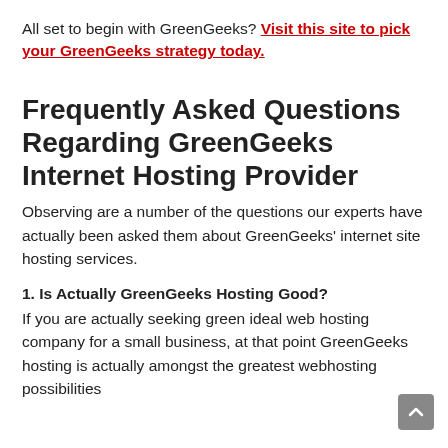All set to begin with GreenGeeks? Visit this site to pick your GreenGeeks strategy today.
Frequently Asked Questions Regarding GreenGeeks Internet Hosting Provider
Observing are a number of the questions our experts have actually been asked them about GreenGeeks' internet site hosting services.
1. Is Actually GreenGeeks Hosting Good?
If you are actually seeking green ideal web hosting company for a small business, at that point GreenGeeks hosting is actually amongst the greatest webhosting possibilities